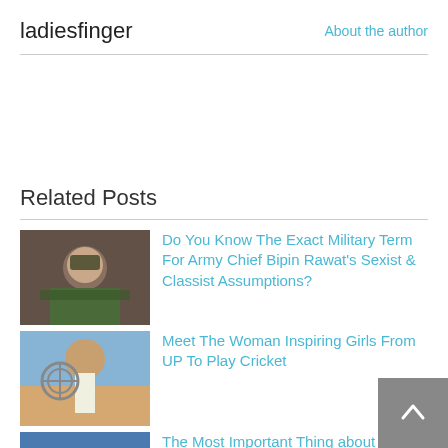ladiesfinger
About the author
Related Posts
[Figure (photo): Thumbnail image of Army Chief Bipin Rawat]
Do You Know The Exact Military Term For Army Chief Bipin Rawat's Sexist & Classist Assumptions?
[Figure (photo): Thumbnail image of woman playing cricket]
Meet The Woman Inspiring Girls From UP To Play Cricket
[Figure (photo): Thumbnail image of woman at sports event]
The Most Important Thing about a Woman is Her Clothes, and Other Rubbish